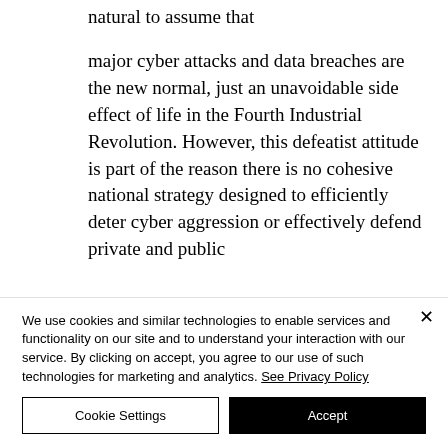natural to assume that
major cyber attacks and data breaches are the new normal, just an unavoidable side effect of life in the Fourth Industrial Revolution. However, this defeatist attitude is part of the reason there is no cohesive national strategy designed to efficiently deter cyber aggression or effectively defend private and public
We use cookies and similar technologies to enable services and functionality on our site and to understand your interaction with our service. By clicking on accept, you agree to our use of such technologies for marketing and analytics. See Privacy Policy
Cookie Settings
Accept